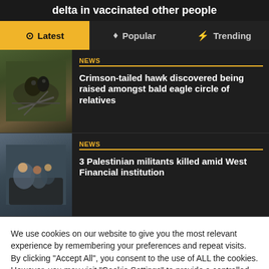delta in vaccinated other people
Latest | Popular | Trending
[Figure (photo): Thumbnail photo of birds in a nest, dark-colored birds among branches]
NEWS
Crimson-tailed hawk discovered being raised amongst bald eagle circle of relatives
[Figure (photo): Thumbnail photo of people gathered around a vehicle in an outdoor scene]
NEWS
3 Palestinian militants killed amid West Financial institution
We use cookies on our website to give you the most relevant experience by remembering your preferences and repeat visits. By clicking "Accept All", you consent to the use of ALL the cookies. However, you may visit "Cookie Settings" to provide a controlled consent.
Cookie Settings | Accept All